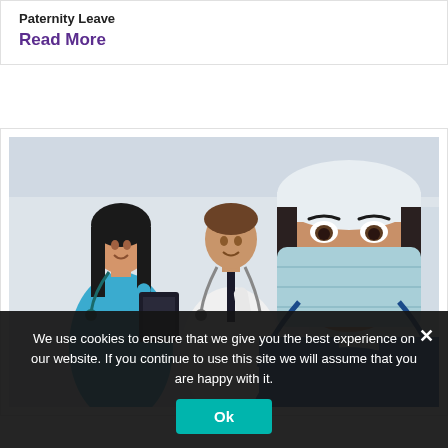Paternity Leave
Read More
[Figure (photo): Three medical professionals: a female nurse in blue scrubs with stethoscope, a male doctor in white coat with stethoscope holding a clipboard, and a female doctor/nurse in the foreground wearing a surgical mask and white cap with a stethoscope.]
We use cookies to ensure that we give you the best experience on our website. If you continue to use this site we will assume that you are happy with it.